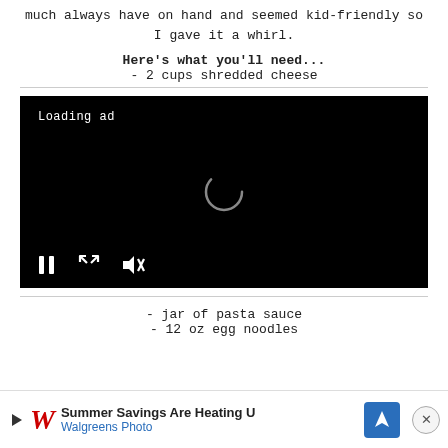much always have on hand and seemed kid-friendly so I gave it a whirl.
Here's what you'll need...
- 2 cups shredded cheese
[Figure (screenshot): Black video player with 'Loading ad' text, a spinner in the center, and playback controls (pause, fullscreen, mute) at the bottom.]
- jar of pasta sauce
- 12 oz egg noodles
[Figure (screenshot): Advertisement banner: Walgreens Photo 'Summer Savings Are Heating U' with red W logo, blue navigation icon, and X close button.]